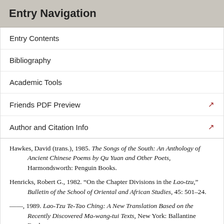Entry Navigation
Entry Contents
Bibliography
Academic Tools
Friends PDF Preview
Author and Citation Info
Hawkes, David (trans.), 1985. The Songs of the South: An Anthology of Ancient Chinese Poems by Qu Yuan and Other Poets, Harmondsworth: Penguin Books.
Henricks, Robert G., 1982. “On the Chapter Divisions in the Lao-tzu,” Bulletin of the School of Oriental and African Studies, 45: 501–24.
——, 1989. Lao-Tzu Te-Tao Ching: A New Translation Based on the Recently Discovered Ma-wang-tui Texts, New York: Ballantine Books.
——, 2000. Lao Tzu’s Tao Te Ching: A Translation of the